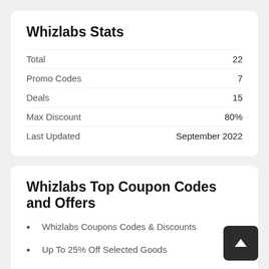Whizlabs Stats
|  |  |
| --- | --- |
| Total | 22 |
| Promo Codes | 7 |
| Deals | 15 |
| Max Discount | 80% |
| Last Updated | September 2022 |
Whizlabs Top Coupon Codes and Offers
Whizlabs Coupons Codes & Discounts
Up To 25% Off Selected Goods
25% Off Your Online Purchase
Save Over 75% On Project Management Professional PMP ® Certifications Exam Simulator